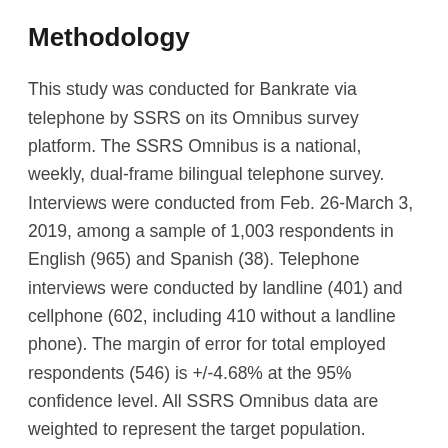Methodology
This study was conducted for Bankrate via telephone by SSRS on its Omnibus survey platform. The SSRS Omnibus is a national, weekly, dual-frame bilingual telephone survey. Interviews were conducted from Feb. 26-March 3, 2019, among a sample of 1,003 respondents in English (965) and Spanish (38). Telephone interviews were conducted by landline (401) and cellphone (602, including 410 without a landline phone). The margin of error for total employed respondents (546) is +/-4.68% at the 95% confidence level. All SSRS Omnibus data are weighted to represent the target population.